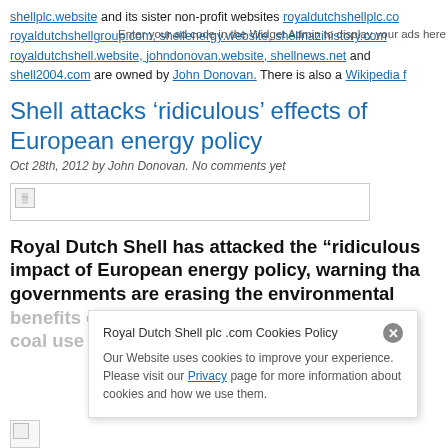shellplc.website and its sister non-profit websites royaldutchshellplc.com royaldutchshellgroup.com, shellenergy.website, shellnazihistory.com royaldutchshell.website, johndonovan.website, shellnews.net and shell2004.com are owned by John Donovan. There is also a Wikipedia f
Shell attacks ‘ridiculous’ effects of European energy policy
Oct 28th, 2012 by John Donovan. No comments yet
[Figure (other): Broken image placeholder]
Royal Dutch Shell has attacked the “riculous impact of European energy policy, warning tha governments are erasing the environmental benefits of renewables by owing coal use to increase
Royal Dutch Shell plc .com Cookies Policy
Our Website uses cookies to improve your experience. Please visit our Privacy page for more information about cookies and how we use them.